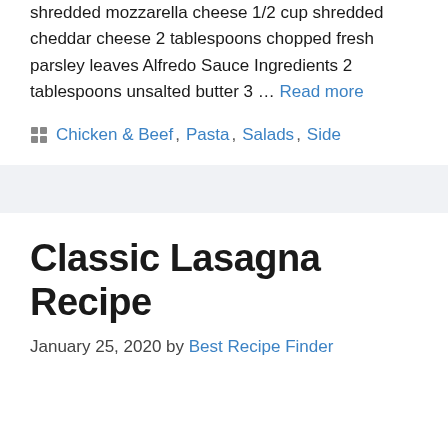shredded mozzarella cheese 1/2 cup shredded cheddar cheese 2 tablespoons chopped fresh parsley leaves Alfredo Sauce Ingredients 2 tablespoons unsalted butter 3 … Read more
Chicken & Beef, Pasta, Salads, Side
Classic Lasagna Recipe
January 25, 2020 by Best Recipe Finder